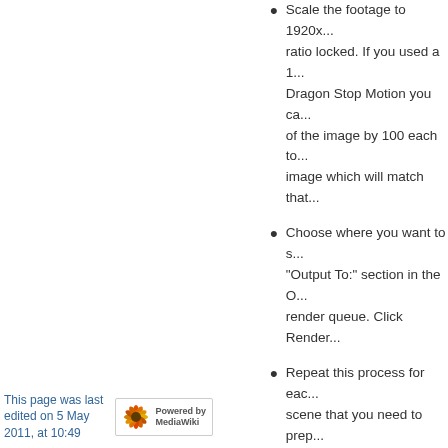Scale the footage to 1920x... ratio locked. If you used a 1... Dragon Stop Motion you can... of the image by 100 each to... image which will match that...
Choose where you want to save the output using the "Output To:" section in the Output Module in the render queue. Click Render...
Repeat this process for each... scene that you need to prep...
Now you are ready to import... into Final Cut Pro. Follow th... and use a ProRes 422 easy... that matches your export.
Navigation
FMMC Knowledgebase
FMMC Technology Support
This page was last edited on 5 May 2011, at 10:49